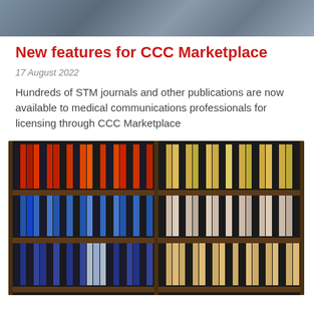[Figure (photo): Top cropped photo showing people, partially visible at top of page]
New features for CCC Marketplace
17 August 2022
Hundreds of STM journals and other publications are now available to medical communications professionals for licensing through CCC Marketplace
[Figure (photo): Library shelves filled with rows of colorful book spines and journal volumes — red/orange in upper left, yellow/tan in upper right, blue in middle left, beige/cream in middle right, dark blue at bottom]